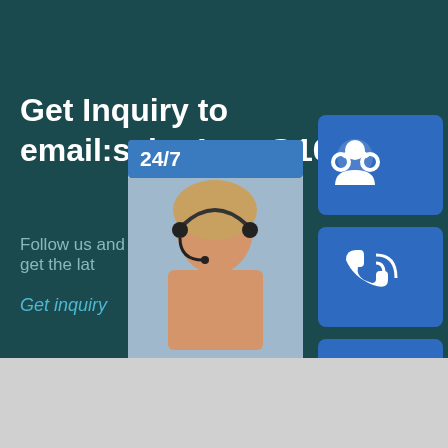Get Inquiry to email:sales1cae@16
Follow us and stay in touch to get the lat
Get inquiry
[Figure (infographic): Customer service widget panel showing: a card with '24/7' header and customer service representative photo with headset, text 'PROVIDE Empowering Cu', 'online live' button; three blue icon buttons showing headphone/customer service icon, phone/call icon, and Skype icon; a teal circular scroll-to-top arrow button]